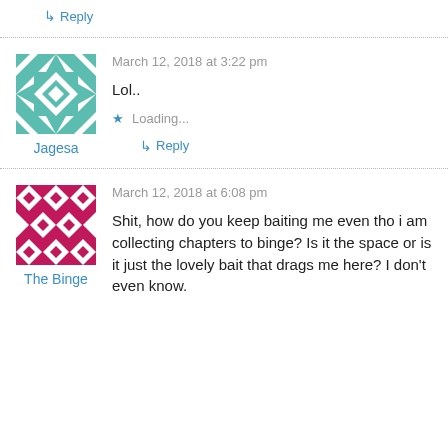↳ Reply
[Figure (illustration): Teal/white geometric quilt-pattern avatar for user Jagesa]
Jagesa
March 12, 2018 at 3:22 pm
Lol..
Loading...
↳ Reply
[Figure (illustration): Pink/white geometric quilt-pattern avatar for user The Binge]
The Binge
March 12, 2018 at 6:08 pm
Shit, how do you keep baiting me even tho i am collecting chapters to binge? Is it the space or is it just the lovely bait that drags me here? I don't even know.